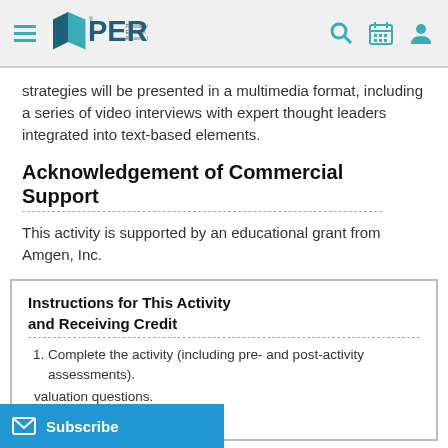PER — Physicians Education Resource, LLC
strategies will be presented in a multimedia format, including a series of video interviews with expert thought leaders integrated into text-based elements.
Acknowledgement of Commercial Support
This activity is supported by an educational grant from Amgen, Inc.
Instructions for This Activity and Receiving Credit
Complete the activity (including pre- and post-activity assessments).
valuation questions.
it using the drop-down menu.